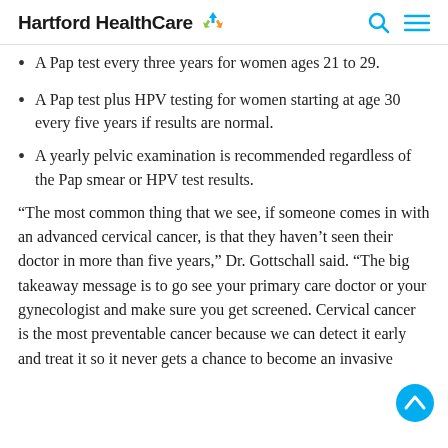Hartford HealthCare
A Pap test every three years for women ages 21 to 29.
A Pap test plus HPV testing for women starting at age 30 every five years if results are normal.
A yearly pelvic examination is recommended regardless of the Pap smear or HPV test results.
“The most common thing that we see, if someone comes in with an advanced cervical cancer, is that they haven’t seen their doctor in more than five years,” Dr. Gottschall said. “The big takeaway message is to go see your primary care doctor or your gynecologist and make sure you get screened. Cervical cancer is the most preventable cancer because we can detect it early and treat it so it never gets a chance to become an invasive